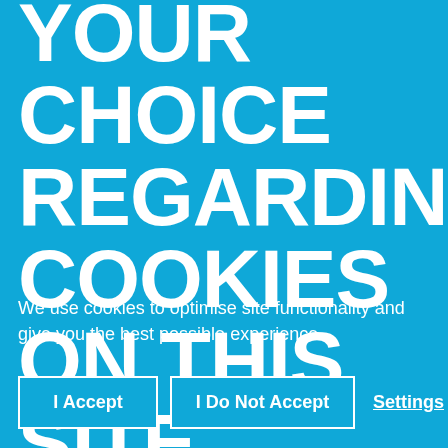YOUR CHOICE REGARDING COOKIES ON THIS SITE
We use cookies to optimise site functionality and give you the best possible experience.
I Accept
I Do Not Accept
Settings
X (close)